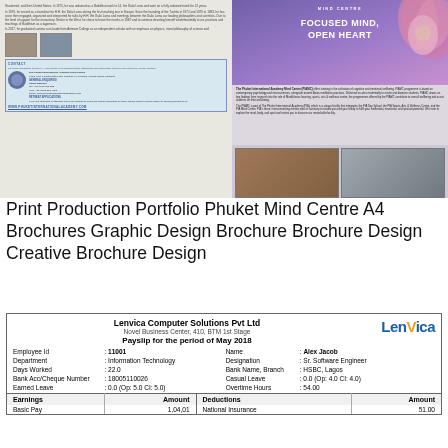[Figure (illustration): Brochure design for Phuket International Academy Mind Centre featuring text columns, lotus flower image, photos of monks, and contact information]
Print Production Portfolio Phuket Mind Centre A4 Brochures Graphic Design Brochure Brochure Design Creative Brochure Design
| Earnings | Amount | Deductions | Amount |
| --- | --- | --- | --- |
| Basic Pay | 1,04,01 | National Insurance | 51.00 |